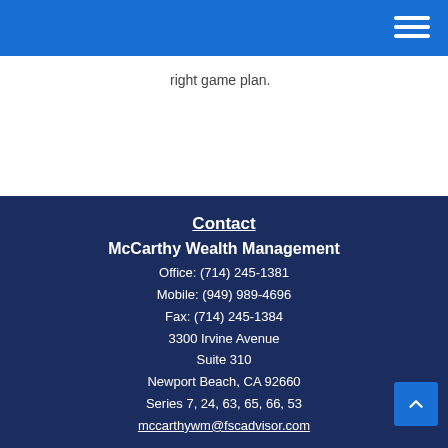right game plan.
Contact
McCarthy Wealth Management
Office: (714) 245-1381
Mobile: (949) 989-4696
Fax: (714) 245-1384
3300 Irvine Avenue
Suite 310
Newport Beach, CA 92660
Series 7, 24, 63, 65, 66, 53
mccarthywm@fscadvisor.com